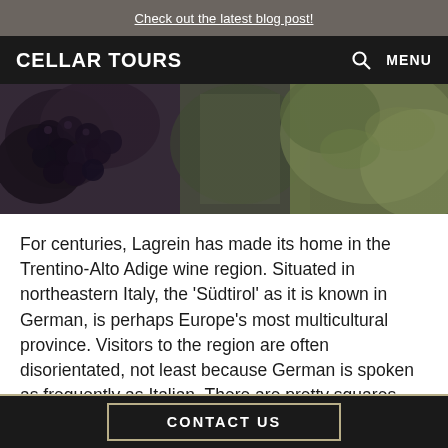Check out the latest blog post!
CELLAR TOURS  MENU
[Figure (photo): Close-up photograph of dark purple/black wine grapes on the vine, with blurred vineyard greenery in the background.]
For centuries, Lagrein has made its home in the Trentino-Alto Adige wine region. Situated in northeastern Italy, the 'Südtirol' as it is known in German, is perhaps Europe's most multicultural province. Visitors to the region are often disorientated, not least because German is spoken as frequently as Italian. There are pretty squares galore in the beautiful city of Bolzano, stuffed full of gelaterias and pizzerias. Yet directly opposite, you'll see signs advertising
CONTACT US